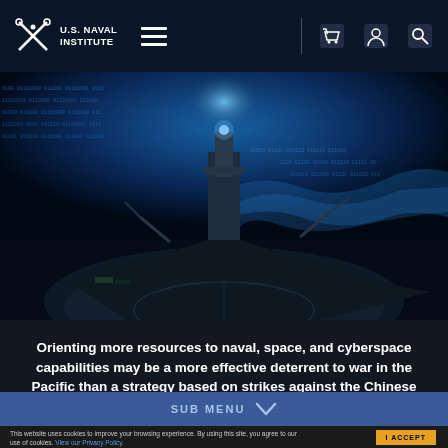U.S. Naval Institute
[Figure (photo): Hero image of a naval warship bow viewed from the deck, with a digital cyber/data-stream overlay of blue binary code and flowing wave patterns in the background sky.]
Orienting more resources to naval, space, and cyberspace capabilities may be a more effective deterrent to war in the Pacific than a strategy based on strikes against the Chinese mainland.
SUB MENU
This website uses cookies to improve your browsing experience. By using this site, you agree to our use of cookies. View our Privacy Policy.